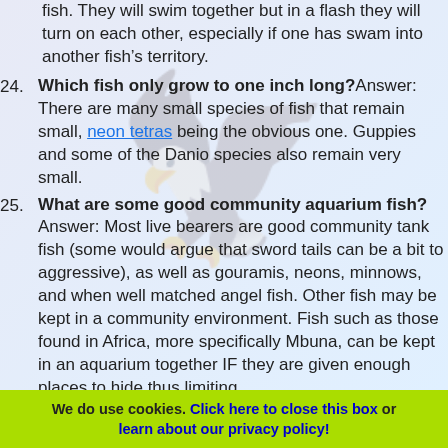fish. They will swim together but in a flash they will turn on each other, especially if one has swam into another fish's territory.
24. Which fish only grow to one inch long? Answer: There are many small species of fish that remain small, neon tetras being the obvious one. Guppies and some of the Danio species also remain very small.
25. What are some good community aquarium fish? Answer: Most live bearers are good community tank fish (some would argue that sword tails can be a bit to aggressive), as well as gouramis, neons, minnows, and when well matched angel fish. Other fish may be kept in a community environment. Fish such as those found in Africa, more specifically Mbuna, can be kept in an aquarium together IF they are given enough places to hide thus limiting
We do use cookies. Click here to close this box or learn about our privacy policy!